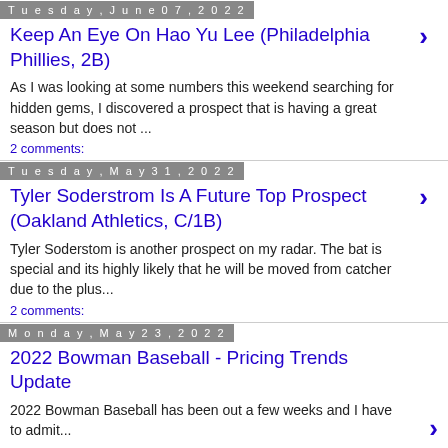Tuesday, June 07, 2022
Keep An Eye On Hao Yu Lee (Philadelphia Phillies, 2B)
As I was looking at some numbers this weekend searching for hidden gems, I discovered a prospect that is having a great season but does not ...
2 comments:
Tuesday, May 31, 2022
Tyler Soderstrom Is A Future Top Prospect (Oakland Athletics, C/1B)
Tyler Soderstom is another prospect on my radar. The bat is special and its highly likely that he will be moved from catcher due to the plus...
2 comments:
Monday, May 23, 2022
2022 Bowman Baseball - Pricing Trends Update
2022 Bowman Baseball has been out a few weeks and I have to admit...